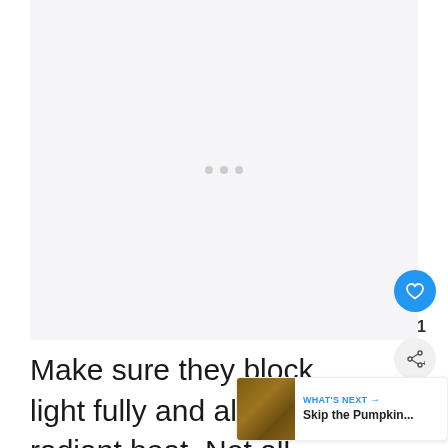[Figure (other): Loading placeholder image area with light gray background and three gray loading dots centered]
Make sure they block light fully and also block radiant heat. Not all blackout offer both benefits. Find blackout curtains